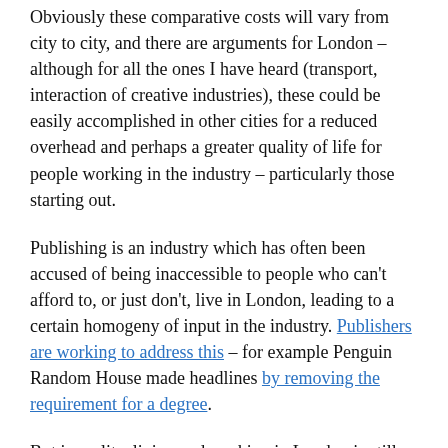Obviously these comparative costs will vary from city to city, and there are arguments for London – although for all the ones I have heard (transport, interaction of creative industries), these could be easily accomplished in other cities for a reduced overhead and perhaps a greater quality of life for people working in the industry – particularly those starting out.
Publishing is an industry which has often been accused of being inaccessible to people who can't afford to, or just don't, live in London, leading to a certain homogeny of input in the industry. Publishers are working to address this – for example Penguin Random House made headlines by removing the requirement for a degree.
But in reality, living and working in London is still beyond the reach of a lot of people – particularly if they want to start in an industry which is still heavy with unpaid internships, and which is still pushing for transparency for salaries within the